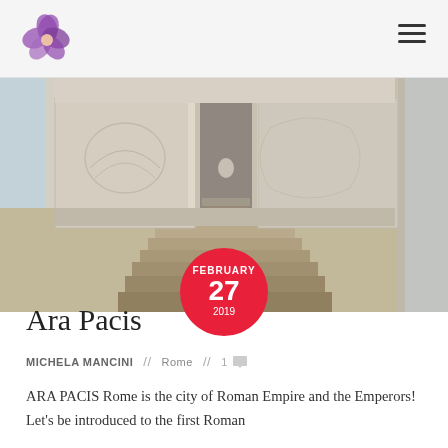[Figure (photo): Interior of the Ara Pacis museum in Rome — marble altar walls with relief carvings, steps leading upward, viewed from outside through large glass windows. Stone is beige-white. A red circular date badge overlays the lower center reading FEBRUARY 27 2019.]
Ara Pacis
MICHELA MANCINI // Rome // 1
ARA PACIS Rome is the city of Roman Empire and the Emperors! Let's be introduced to the first Roman